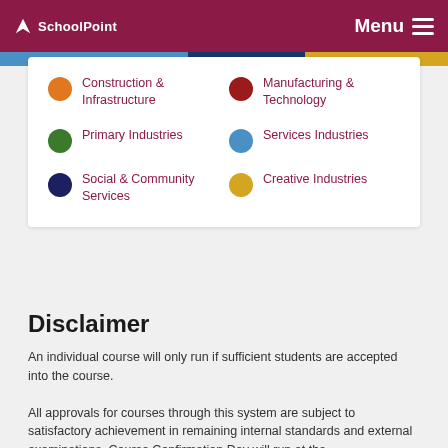SchoolPoint  Menu
Construction & Infrastructure
Manufacturing & Technology
Primary Industries
Services Industries
Social & Community Services
Creative Industries
Disclaimer
An individual course will only run if sufficient students are accepted into the course.
All approvals for courses through this system are subject to satisfactory achievement in remaining internal standards and external examinations. Course Confirmation Day will run at the